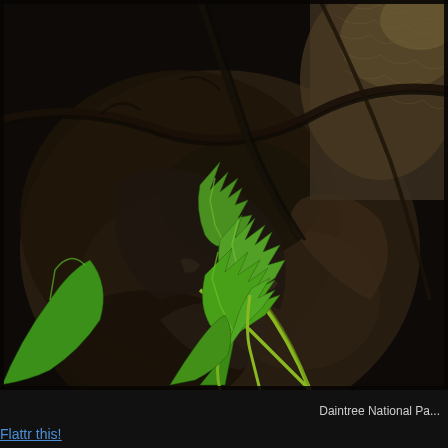[Figure (photo): Close-up nature photograph showing bright green serrated fern/plant leaves with pointed lobes in the foreground, against a dark wet rocky surface with tree branches and roots. Taken at Daintree National Park. Dark background with rich green foliage.]
Daintree National Pa...
Flattr this!